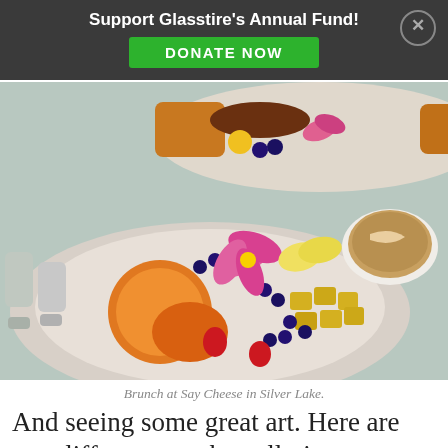Support Glasstire's Annual Fund! DONATE NOW
[Figure (photo): A plate of brunch food featuring fresh fruits including orange slices, pineapple chunks, blueberries, strawberries, banana slices, and a pink orchid flower. In the background is another plate with toast and fruit, salt and pepper shakers, a glass of water, and a cup of coffee with latte art.]
Brunch at Say Cheese in Silver Lake.
And seeing some great art. Here are my cliff notes on the galleries...